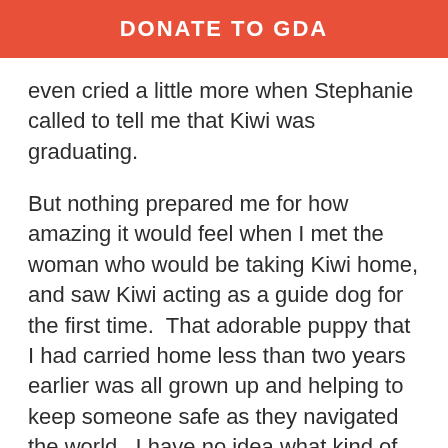DONATE TO GDA
even cried a little more when Stephanie called to tell me that Kiwi was graduating.
But nothing prepared me for how amazing it would feel when I met the woman who would be taking Kiwi home, and saw Kiwi acting as a guide dog for the first time.  That adorable puppy that I had carried home less than two years earlier was all grown up and helping to keep someone safe as they navigated the world.  I have no idea what kind of magic they perform at GDA that transforms a puppy into a working guide dog, but all I could think about when I saw Kiwi at graduation was how proud I